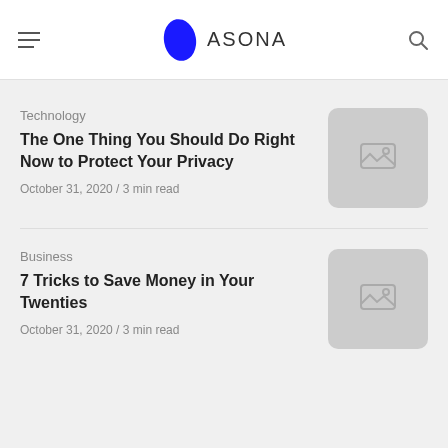ASONA
Technology
The One Thing You Should Do Right Now to Protect Your Privacy
October 31, 2020 / 3 min read
[Figure (illustration): Placeholder image thumbnail for the first article]
Business
7 Tricks to Save Money in Your Twenties
October 31, 2020 / 3 min read
[Figure (illustration): Placeholder image thumbnail for the second article]